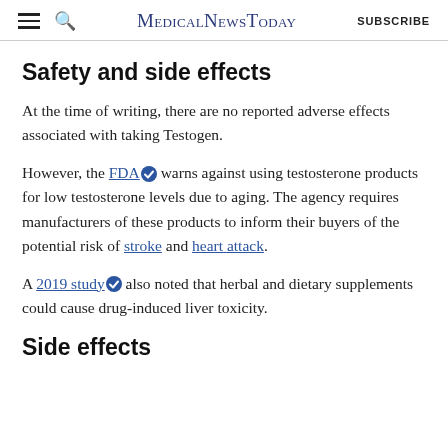MedicalNewsToday SUBSCRIBE
Safety and side effects
At the time of writing, there are no reported adverse effects associated with taking Testogen.
However, the FDA warns against using testosterone products for low testosterone levels due to aging. The agency requires manufacturers of these products to inform their buyers of the potential risk of stroke and heart attack.
A 2019 study also noted that herbal and dietary supplements could cause drug-induced liver toxicity.
Side effects